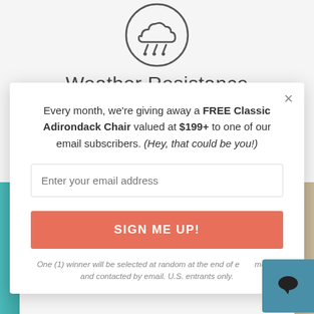[Figure (illustration): Weather resistance icon — a circular icon with rain drops, drawn in dark gray outline style]
Weather Resistance
Every month, we're giving away a FREE Classic Adirondack Chair valued at $199+ to one of our email subscribers. (Hey, that could be you!)
Enter your email address
SIGN ME UP!
One (1) winner will be selected at random at the end of each month and contacted by email. U.S. entrants only.